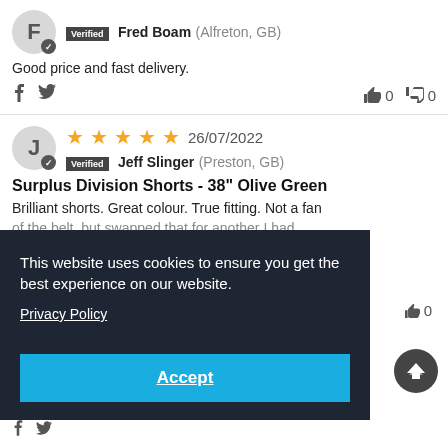F
Verified Fred Boam (Alfreton, GB)
Good price and fast delivery.
0  0
★★★★★  26/07/2022
Verified Jeff Slinger (Preston, GB)
Surplus Division Shorts - 38" Olive Green
Brilliant shorts. Great colour. True fitting. Not a fan of the belt, but swapped that for another I had
This website uses cookies to ensure you get the best experience on our website.
Privacy Policy
Accept